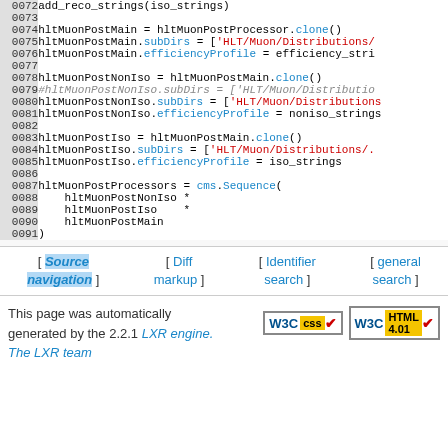[Figure (screenshot): Source code listing lines 0072-0091 of a Python/CMS configuration file showing hltMuonPost processor definitions]
[ Source navigation ] [ Diff markup ] [ Identifier search ] [ general search ]
This page was automatically generated by the 2.2.1 LXR engine. The LXR team